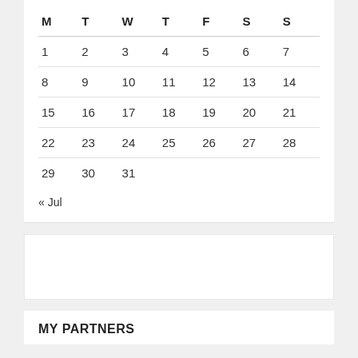| M | T | W | T | F | S | S |
| --- | --- | --- | --- | --- | --- | --- |
| 1 | 2 | 3 | 4 | 5 | 6 | 7 |
| 8 | 9 | 10 | 11 | 12 | 13 | 14 |
| 15 | 16 | 17 | 18 | 19 | 20 | 21 |
| 22 | 23 | 24 | 25 | 26 | 27 | 28 |
| 29 | 30 | 31 |  |  |  |  |
« Jul
MY PARTNERS